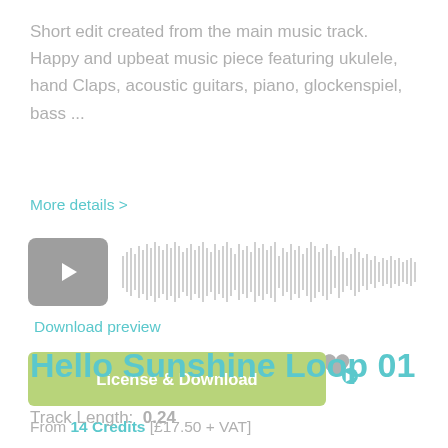Short edit created from the main music track. Happy and upbeat music piece featuring ukulele, hand Claps, acoustic guitars, piano, glockenspiel, bass ...
More details >
[Figure (other): Audio player with play button and waveform visualization]
Download preview
License & Download
From 14 Credits [£17.50 + VAT]
Hello Sunshine Loop 01
Track Length:  0.24